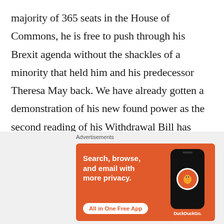majority of 365 seats in the House of Commons, he is free to push through his Brexit agenda without the shackles of a minority that held him and his predecessor Theresa May back. We have already gotten a demonstration of his new found power as the second reading of his Withdrawal Bill has been passed on December 20 without any hiccups. The Bill that was passed, however, is somewhat different from the Bill the PM presented before Parliament agreed to an election. With a new Bill and a new Parliament, one must
[Figure (infographic): DuckDuckGo advertisement banner: orange background with white bold text 'Search, browse, and email with more privacy.' and a white button 'All in One Free App', alongside a phone mockup showing the DuckDuckGo logo and brand name.]